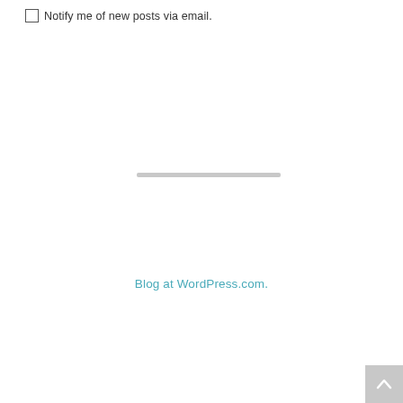Notify me of new posts via email.
Blog at WordPress.com.
[Figure (other): Back to top arrow button in bottom right corner]